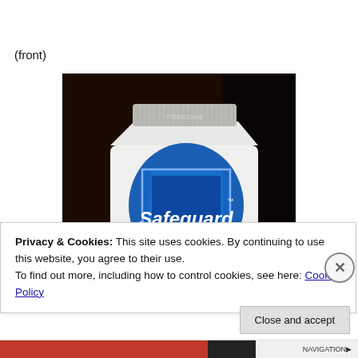(front)
[Figure (photo): Close-up photo of the front of a Safeguard soap tube showing the Safeguard logo with 'Family Germ Protection' text on a blue shield design, with a ridged gray cap at the top.]
Privacy & Cookies: This site uses cookies. By continuing to use this website, you agree to their use.
To find out more, including how to control cookies, see here: Cookie Policy
Close and accept